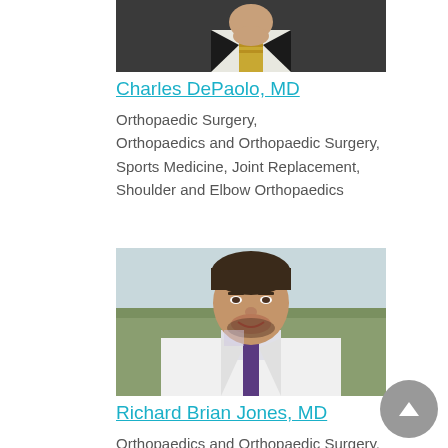[Figure (photo): Partial photo of Charles DePaolo MD, showing lower portion of a man in suit with tie]
Charles DePaolo, MD
Orthopaedic Surgery, Orthopaedics and Orthopaedic Surgery, Sports Medicine, Joint Replacement, Shoulder and Elbow Orthopaedics
[Figure (photo): Professional headshot of Richard Brian Jones MD, wearing white coat and purple tie, smiling, outdoor background]
Richard Brian Jones, MD
Orthopaedics and Orthopaedic Surgery, Sports Medicine